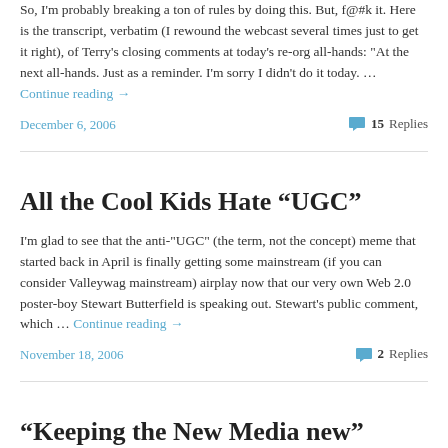So, I'm probably breaking a ton of rules by doing this. But, f@#k it. Here is the transcript, verbatim (I rewound the webcast several times just to get it right), of Terry's closing comments at today's re-org all-hands: "At the next all-hands. Just as a reminder. I'm sorry I didn't do it today. … Continue reading →
December 6, 2006
15 Replies
All the Cool Kids Hate “UGC”
I'm glad to see that the anti-"UGC" (the term, not the concept) meme that started back in April is finally getting some mainstream (if you can consider Valleywag mainstream) airplay now that our very own Web 2.0 poster-boy Stewart Butterfield is speaking out. Stewart's public comment, which … Continue reading →
November 18, 2006
2 Replies
“Keeping the New Media new”